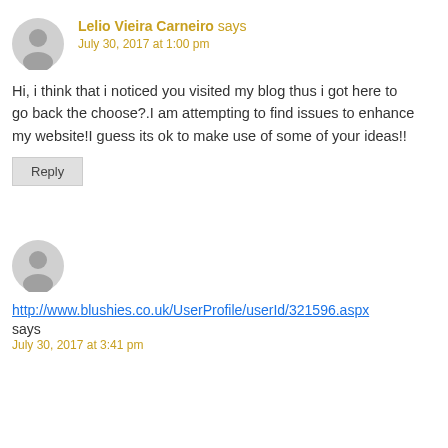Lelio Vieira Carneiro says
July 30, 2017 at 1:00 pm
Hi, i think that i noticed you visited my blog thus i got here to go back the choose?.I am attempting to find issues to enhance my website!I guess its ok to make use of some of your ideas!!
Reply
http://www.blushies.co.uk/UserProfile/userId/321596.aspx says
July 30, 2017 at 3:41 pm